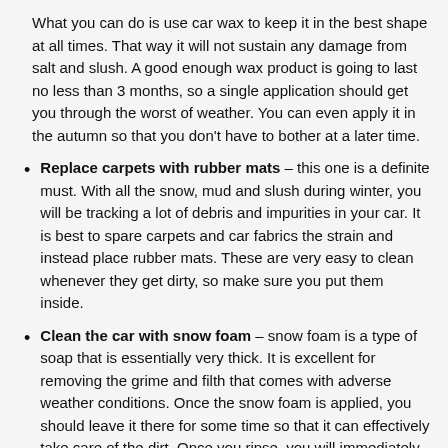What you can do is use car wax to keep it in the best shape at all times. That way it will not sustain any damage from salt and slush. A good enough wax product is going to last no less than 3 months, so a single application should get you through the worst of weather. You can even apply it in the autumn so that you don’t have to bother at a later time.
Replace carpets with rubber mats – this one is a definite must. With all the snow, mud and slush during winter, you will be tracking a lot of debris and impurities in your car. It is best to spare carpets and car fabrics the strain and instead place rubber mats. These are very easy to clean whenever they get dirty, so make sure you put them inside.
Clean the car with snow foam – snow foam is a type of soap that is essentially very thick. It is excellent for removing the grime and filth that comes with adverse weather conditions. Once the snow foam is applied, you should leave it there for some time so that it can effectively take care of the dirt. Once you rinse, you will immediately notice the result.